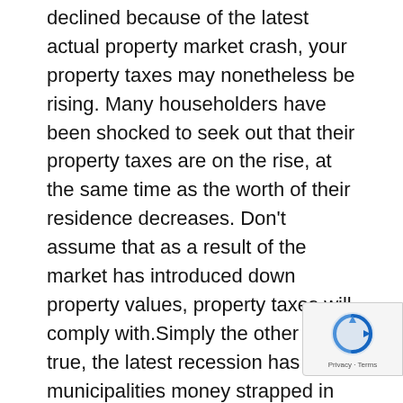declined because of the latest actual property market crash, your property taxes may nonetheless be rising. Many householders have been shocked to seek out that their property taxes are on the rise, at the same time as the worth of their residence decreases. Don't assume that as a result of the market has introduced down property values, property taxes will comply with.Simply the other is true, the latest recession has left municipalities money strapped in its wake and they're scorching to seek out methods to extend income to maintain up with companies. One of many best methods is to lift property taxes. You would possibly marvel how the tax in your property can go up when the worth goes down. In any case, property taxes are primarily based upon the assessed worth of your own home. It could make sense that if the worth of your home goes down, so ought to the tax towards that worth.